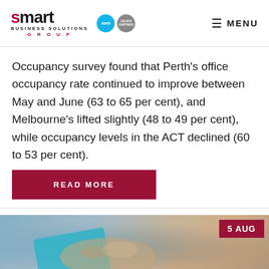smart BUSINESS SOLUTIONS GROUP | MENU
Occupancy survey found that Perth's office occupancy rate continued to improve between May and June (63 to 65 per cent), and Melbourne's lifted slightly (48 to 49 per cent), while occupancy levels in the ACT declined (60 to 53 per cent).
READ MORE
[Figure (photo): A blurred close-up photo of a hand holding a blue card, with a date badge showing '5 AUG' in the top right corner.]